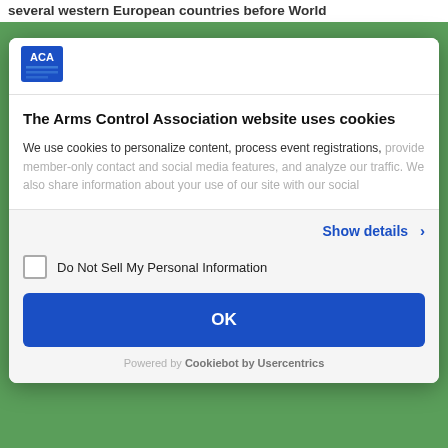several western European countries before World
[Figure (logo): ACA (Arms Control Association) logo — blue square with white text 'ACA' and blue horizontal lines]
The Arms Control Association website uses cookies
We use cookies to personalize content, process event registrations, provide member-only contact and social media features, and analyze our traffic. We also share information about your use of our site with our social
Show details >
Do Not Sell My Personal Information
OK
Powered by Cookiebot by Usercentrics